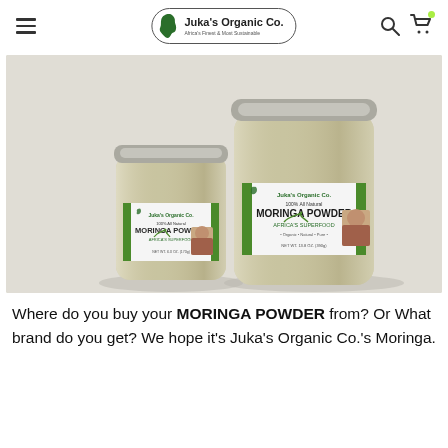Juka's Organic Co. – navigation header with hamburger menu, logo, search and cart icons
[Figure (photo): Two glass jars of Juka's Organic Co. 100% All Natural Moringa Powder (Africa's Superfood) on a white surface. The smaller jar is on the left and the larger jar is on the right. Both jars have green and white labels.]
Where do you buy your MORINGA POWDER from? Or What brand do you get? We hope it's Juka's Organic Co.'s Moringa.